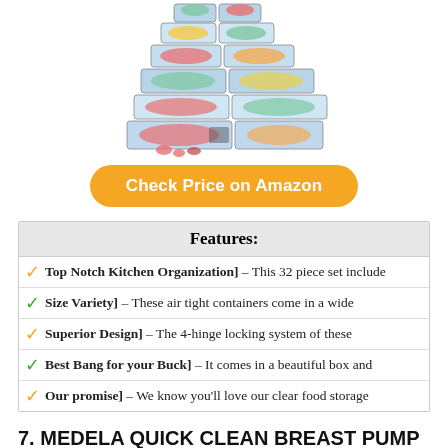[Figure (photo): Stack of clear plastic food storage containers filled with colorful fruits and vegetables]
Check Price on Amazon
| Features: |
| --- |
| ✓ Top Notch Kitchen Organization] – This 32 piece set include |
| ✓ Size Variety] – These air tight containers come in a wide |
| ✓ Superior Design] – The 4-hinge locking system of these |
| ✓ Best Bang for your Buck] – It comes in a beautiful box and |
| ✓ Our promise] – We know you'll love our clear food storage |
7. MEDELA QUICK CLEAN BREAST PUMP AND ACCESSORY WIPES 90CT